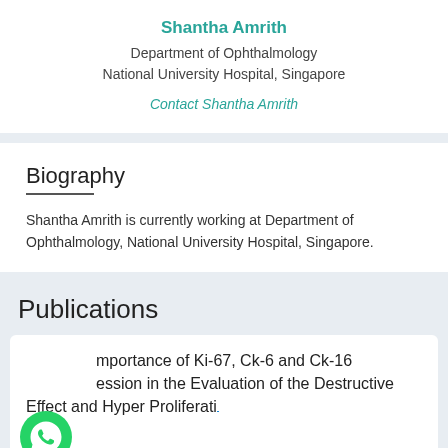Shantha Amrith
Department of Ophthalmology
National University Hospital, Singapore
Contact Shantha Amrith
Biography
Shantha Amrith is currently working at Department of Ophthalmology, National University Hospital, Singapore.
Publications
Importance of Ki-67, Ck-6 and Ck-16 expression in the Evaluation of the Destructive Effect and Hyper Proliferati...